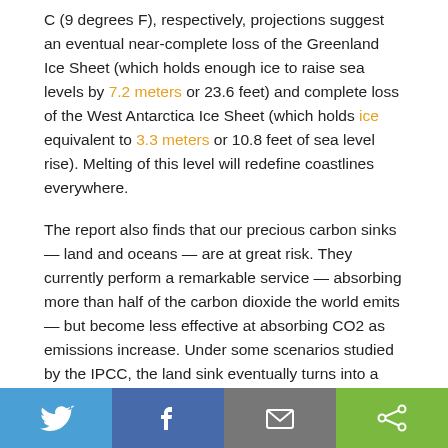C (9 degrees F), respectively, projections suggest an eventual near-complete loss of the Greenland Ice Sheet (which holds enough ice to raise sea levels by 7.2 meters or 23.6 feet) and complete loss of the West Antarctica Ice Sheet (which holds ice equivalent to 3.3 meters or 10.8 feet of sea level rise). Melting of this level will redefine coastlines everywhere.
The report also finds that our precious carbon sinks — land and oceans — are at great risk. They currently perform a remarkable service — absorbing more than half of the carbon dioxide the world emits — but become less effective at absorbing CO2 as emissions increase. Under some scenarios studied by the IPCC, the land sink eventually turns into a source, emitting CO2 instead of sucking it in. This can lead to runaway warming. We are
[Figure (infographic): Social sharing bar with four buttons: Twitter (blue), Facebook (dark blue), Email (gray), Share (green)]